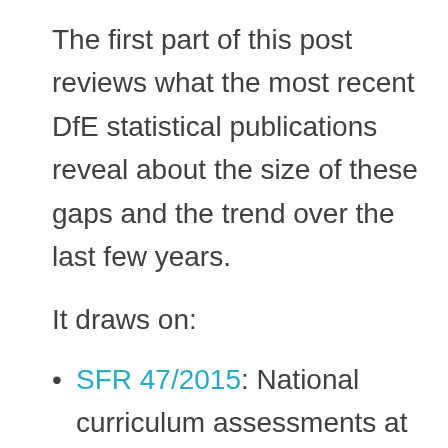The first part of this post reviews what the most recent DfE statistical publications reveal about the size of these gaps and the trend over the last few years.
It draws on:
SFR 47/2015: National curriculum assessments at key stage 2: 2015 (revised),